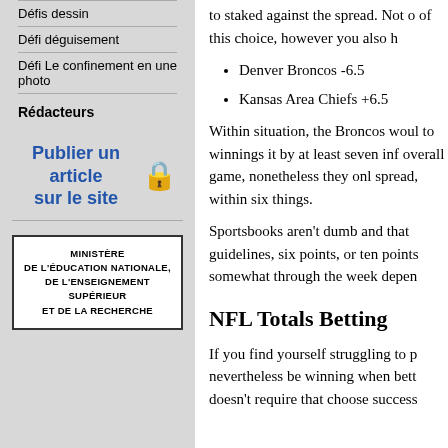Défis dessin
Défi déguisement
Défi Le confinement en une photo
Rédacteurs
Publier un article sur le site 🔒
[Figure (logo): MINISTÈRE DE L'ÉDUCATION NATIONALE, DE L'ENSEIGNEMENT SUPÉRIEUR ET DE LA RECHERCHE logo box]
to staked against the spread. Not o of this choice, however you also h
Denver Broncos -6.5
Kansas Area Chiefs +6.5
Within situation, the Broncos woul to winnings it by at least seven inf overall game, nonetheless they onl spread, within six things.
Sportsbooks aren't dumb and that guidelines, six points, or ten points somewhat through the week depen
NFL Totals Betting
If you find yourself struggling to p nevertheless be winning when bett doesn't require that choose success